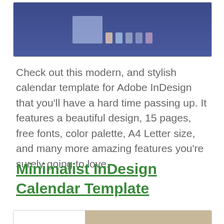[Figure (screenshot): Top portion of a calendar template preview image on dark blue/navy background showing various calendar page layouts]
Check out this modern, and stylish calendar template for Adobe InDesign that you'll have a hard time passing up. It features a beautiful design, 15 pages, free fonts, color palette, A4 Letter size, and many more amazing features you're surely going to love.
Minimalist InDesign Calendar Template
[Figure (screenshot): Bottom portion showing the start of a minimalist InDesign calendar template preview image with beige/tan tones]